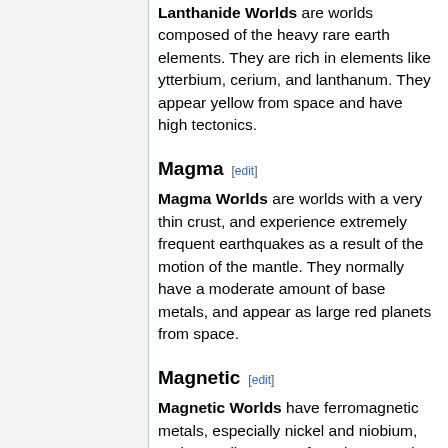Lanthanide Worlds are worlds composed of the heavy rare earth elements. They are rich in elements like ytterbium, cerium, and lanthanum. They appear yellow from space and have high tectonics.
Magma [edit]
Magma Worlds are worlds with a very thin crust, and experience extremely frequent earthquakes as a result of the motion of the mantle. They normally have a moderate amount of base metals, and appear as large red planets from space.
Magnetic [edit]
Magnetic Worlds have ferromagnetic metals, especially nickel and niobium, and a small amount of exotic magnetic